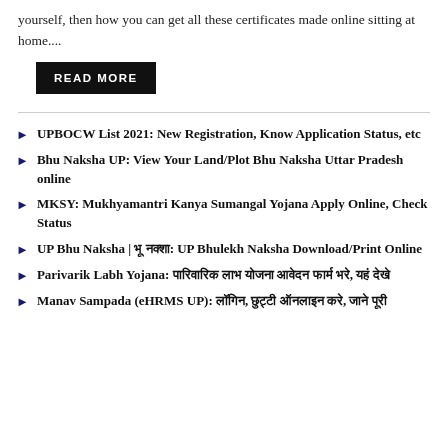yourself, then how you can get all these certificates made online sitting at home....
READ MORE
UPBOCW List 2021: New Registration, Know Application Status, etc
Bhu Naksha UP: View Your Land/Plot Bhu Naksha Uttar Pradesh online
MKSY: Mukhyamantri Kanya Sumangal Yojana Apply Online, Check Status
UP Bhu Naksha | भू नक्शा: UP Bhulekh Naksha Download/Print Online
Parivarik Labh Yojana: पारिवारिक लाभ योजना आवेदन फार्म भरे, यहं देखे
Manav Sampada (eHRMS UP): लॉगिन, छुट्टी ऑनलाइन करे, जाने पूरी